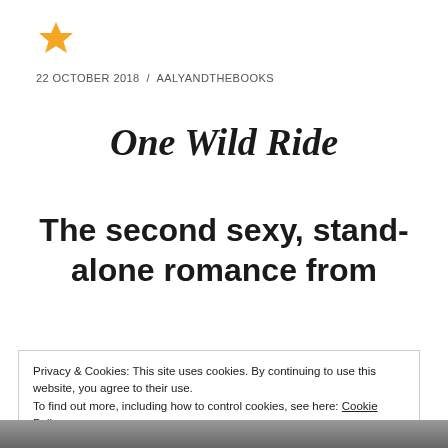[Figure (illustration): Orange/gold star icon]
22 OCTOBER 2018  /  AALYANDTHEBOOKS
One Wild Ride
The second sexy, stand-alone romance from
Privacy & Cookies: This site uses cookies. By continuing to use this website, you agree to their use.
To find out more, including how to control cookies, see here: Cookie Policy
Close and accept
[Figure (photo): Bottom strip showing partial photo of people]